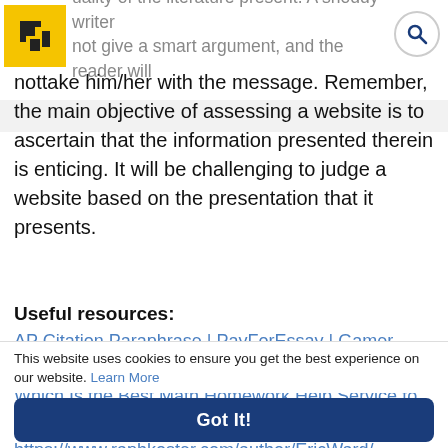uality of the literature present. A shoddy writer not give a smart argument, and the reader will
nottake him/her with the message. Remember, the main objective of assessing a website is to ascertain that the information presented therein is enticing. It will be challenging to judge a website based on the presentation that it presents.
Useful resources:
AP Citation Paraphrase | PayForEssay | Gamer Launch Support
Which Is the Best Math Homework Help Service to Select?
https://www.raphkoster.com/author/EricWard/
This website uses cookies to ensure you get the best experience on our website. Learn More
Got It!